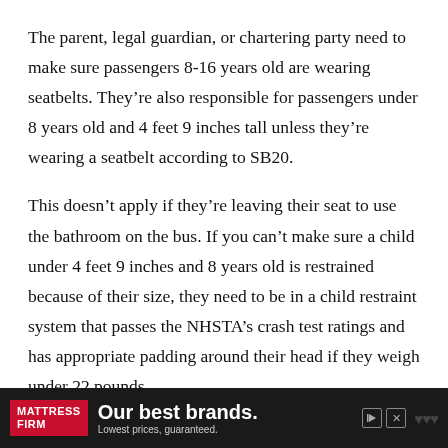The parent, legal guardian, or chartering party need to make sure passengers 8-16 years old are wearing seatbelts. They're also responsible for passengers under 8 years old and 4 feet 9 inches tall unless they're wearing a seatbelt according to SB20.
This doesn't apply if they're leaving their seat to use the bathroom on the bus. If you can't make sure a child under 4 feet 9 inches and 8 years old is restrained because of their size, they need to be in a child restraint system that passes the NHSTA's crash test ratings and has appropriate padding around their head if they weigh under 22 pounds.
[Figure (other): Advertisement banner for Mattress Firm at the bottom of the page. Dark background with Mattress Firm logo in red, headline 'Our best brands.' and subtext 'Lowest prices, guaranteed.']